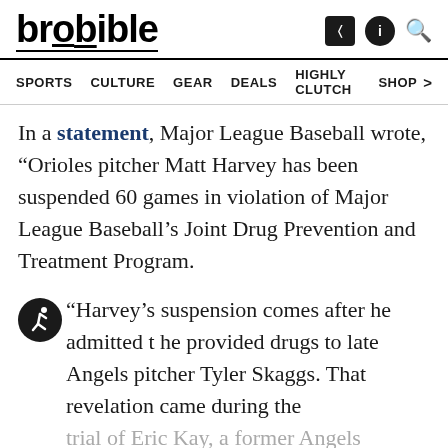brobible
SPORTS   CULTURE   GEAR   DEALS   HIGHLY CLUTCH   SHOP >
In a statement, Major League Baseball wrote, “Orioles pitcher Matt Harvey has been suspended 60 games in violation of Major League Baseball’s Joint Drug Prevention and Treatment Program.
“Harvey’s suspension comes after he admitted that he provided drugs to late Angels pitcher Tyler Skaggs. That revelation came during the trial of Eric Kay, a former Angels employee who was convicted in February of giving